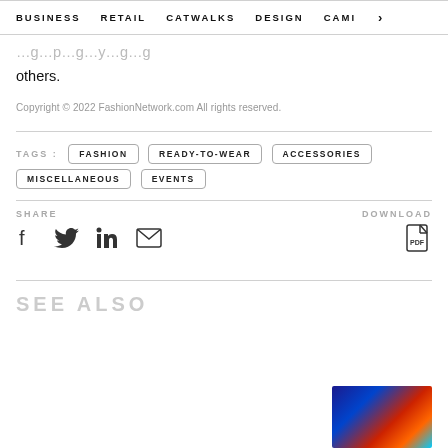BUSINESS   RETAIL   CATWALKS   DESIGN   CAMI  >
others.
Copyright © 2022 FashionNetwork.com All rights reserved.
TAGS :  FASHION  READY-TO-WEAR  ACCESSORIES  MISCELLANEOUS  EVENTS
SHARE   DOWNLOAD
SEE ALSO